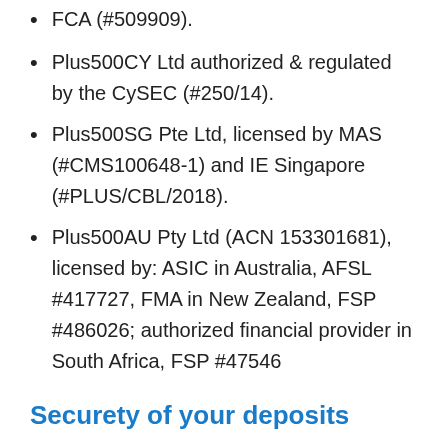FCA (#509909).
Plus500CY Ltd authorized & regulated by the CySEC (#250/14).
Plus500SG Pte Ltd, licensed by MAS (#CMS100648-1) and IE Singapore (#PLUS/CBL/2018).
Plus500AU Pty Ltd (ACN 153301681), licensed by: ASIC in Australia, AFSL #417727, FMA in New Zealand, FSP #486026; authorized financial provider in South Africa, FSP #47546
Securety of your deposits
Depending on your nationality, you enjoy extra protection if Plus500 goes bankrupt. This is done